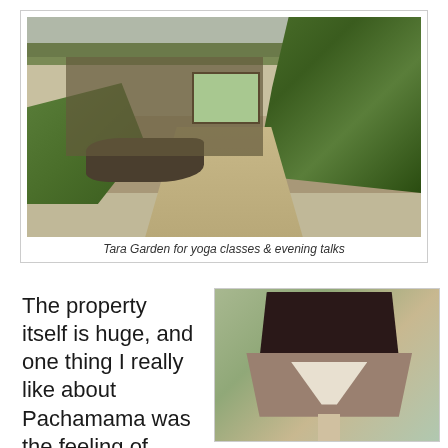[Figure (photo): Photograph of Tara Garden exterior — a long low building with wooden doors and windows, a gravel path leading to the entrance, lush tropical green foliage on the right and left sides, rocks along the left edge of the path.]
Tara Garden for yoga classes & evening talks
The property itself is huge, and one thing I really like about Pachamama was the feeling of being in nature, with plenty of
[Figure (photo): Close-up photograph of a handmade ceramic lamp with a dark brown (almost black) top shade and a lighter brown/terracotta lower shade with a white geometric V or bird pattern. The lamp is on a pale wooden stick/stem. Background is blurred with greens and blues.]